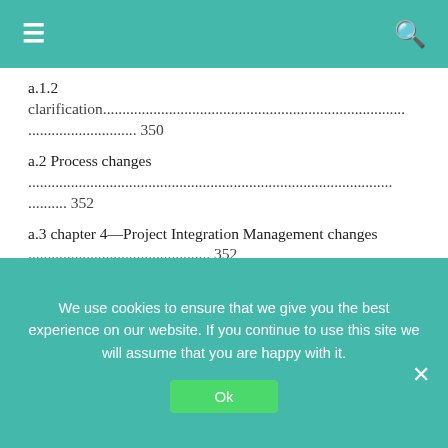≡  [search icon]
a.1.2
clarification.............................................................. ............................ 350
a.2 Process changes
.....................................................................................................  .......... 352
a.3 chapter 4—Project Integration Management changes
.............................................. 352
a.4 chapter 5—Project Scope Management changes
.................................................. 353
a.5 chapter 6—Project time Management changes
We use cookies to ensure that we give you the best experience on our website. If you continue to use this site we will assume that you are happy with it.
Ok